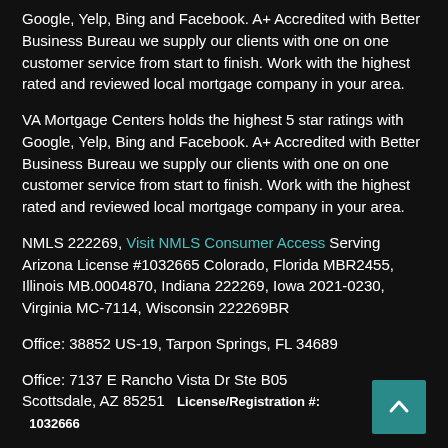Google, Yelp, Bing and Facebook. A+ Accredited with Better Business Bureau we supply our clients with one on one customer service from start to finish. Work with the highest rated and reviewed local mortgage company in your area.
VA Mortgage Centers holds the highest 5 star ratings with Google, Yelp, Bing and Facebook. A+ Accredited with Better Business Bureau we supply our clients with one on one customer service from start to finish. Work with the highest rated and reviewed local mortgage company in your area.
NMLS 222269, Visit NMLS Consumer Access Serving Arizona License #1032665 Colorado, Florida MBR2455, Illinois MB.0004870, Indiana 222269, Iowa 2021-0230, Virginia MC-7114, Wisconsin 222269BR
Office: 38852 US-19, Tarpon Springs, FL 34689
Office: 7137 E Rancho Vista Dr Ste B05 Scottsdale, AZ 85251   License/Registration #:   1032666